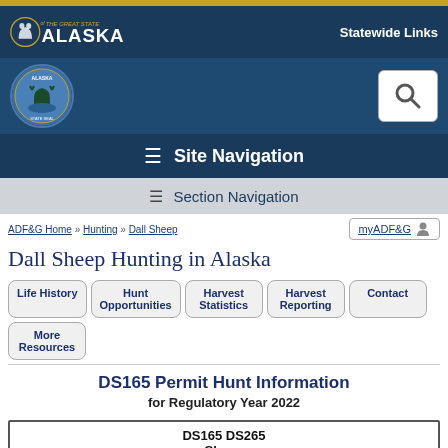The Great State of Alaska
Statewide Links
ADF&G Home » Hunting » Dall Sheep
myADF&G
Dall Sheep Hunting in Alaska
Life History
Hunt Opportunities
Harvest Statistics
Harvest Reporting
Contact
More Resources
DS165 Permit Hunt Information for Regulatory Year 2022
DS165 DS265
Sheep